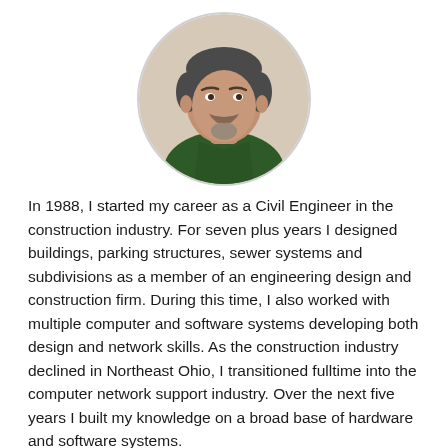[Figure (photo): Circular cropped headshot of a middle-aged man with a mustache and goatee, wearing a dark green collar shirt, smiling at the camera.]
In 1988, I started my career as a Civil Engineer in the construction industry. For seven plus years I designed buildings, parking structures, sewer systems and subdivisions as a member of an engineering design and construction firm. During this time, I also worked with multiple computer and software systems developing both design and network skills. As the construction industry declined in Northeast Ohio, I transitioned fulltime into the computer network support industry. Over the next five years I built my knowledge on a broad base of hardware and software systems.
In 2001 I formed KPEK.Net, Inc. to provide direct IT systems support to clients. Our philosophy is to serve